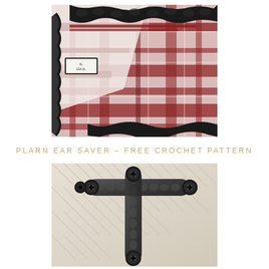[Figure (photo): Close-up photo of black chunky crochet trim edging a plaid red and black flannel fabric, showing the crocheted border attached along the neckline or edge of a plaid shirt, with a clothing label visible reading XL / USA XL]
PLARN EAR SAVER – FREE CROCHET PATTERN
[Figure (photo): Photo of two crocheted ear saver bands made from plarn (plastic yarn), lying crossed on a wooden herringbone surface. The bands are dark grey/black with button loops at each end, showing chunky crochet texture with buttons attached.]